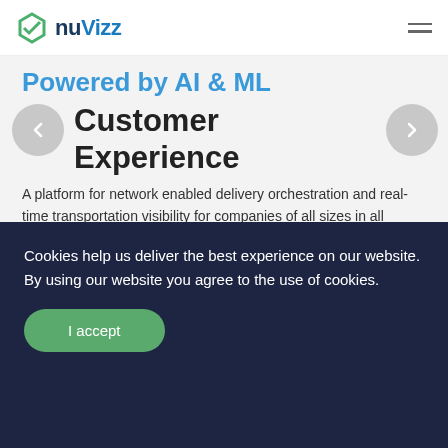nuVizz
Powered by AI & ML
Customer Experience
A platform for network enabled delivery orchestration and real-time transportation visibility for companies of all sizes in all industries
GET STARTED →
Cookies help us deliver the best experience on our website. By using our website you agree to the use of cookies.
I accept